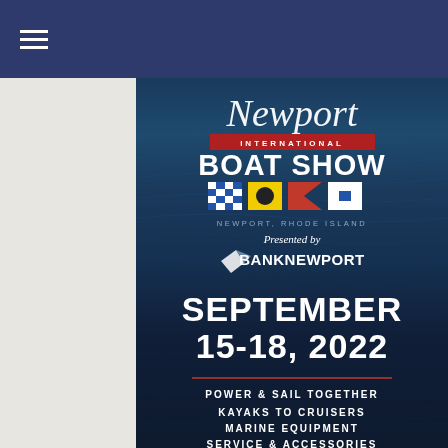[Figure (logo): Navigation bar with hamburger menu icon on dark navy background]
[Figure (infographic): Newport International Boat Show advertisement banner. Dark ocean water background. Shows script Newport logo, INTERNATIONAL red banner, BOAT SHOW bold text, nautical signal flags, NEWPORT, RHODE ISLAND text, Presented by BankNewport sponsor logo, SEPTEMBER 15-18, 2022 date, red horizontal divider, and features list: POWER & SAIL TOGETHER, KAYAKS TO CRUISERS, MARINE EQUIPMENT, SERVICE & ACCESSORIES]